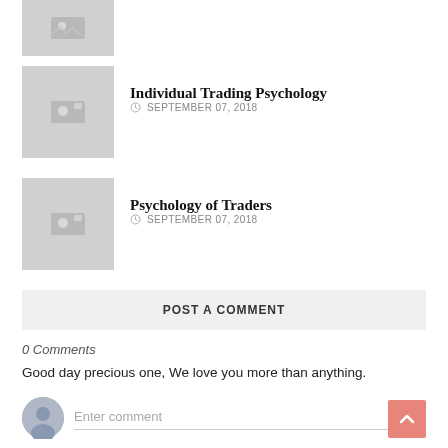[Figure (photo): Partial thumbnail image placeholder at top (cropped)]
Individual Trading Psychology
SEPTEMBER 07, 2018
[Figure (photo): Thumbnail image placeholder for Individual Trading Psychology article]
Psychology of Traders
SEPTEMBER 07, 2018
[Figure (photo): Thumbnail image placeholder for Psychology of Traders article]
POST A COMMENT
0 Comments
Good day precious one, We love you more than anything.
Enter comment